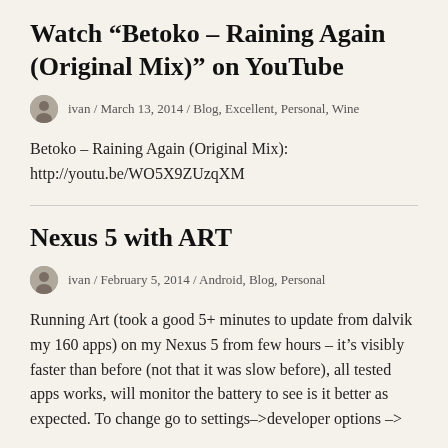Watch “Betoko – Raining Again (Original Mix)” on YouTube
ivan / March 13, 2014 / Blog, Excellent, Personal, Wine
Betoko – Raining Again (Original Mix): http://youtu.be/WO5X9ZUzqXM
Nexus 5 with ART
ivan / February 5, 2014 / Android, Blog, Personal
Running Art (took a good 5+ minutes to update from dalvik my 160 apps) on my Nexus 5 from few hours – it’s visibly faster than before (not that it was slow before), all tested apps works, will monitor the battery to see is it better as expected. To change go to settings–>developer options –>